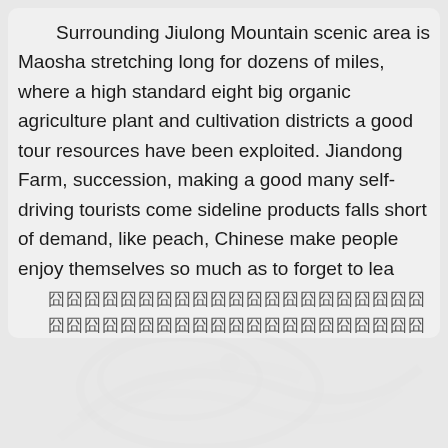Surrounding Jiulong Mountain scenic area is Maosha stretching long for dozens of miles, where a high standard eight big organic agriculture plant and cultivation districts a good tour resources have been exploited. Jiandong Farm, succession, making a good many self-driving tourists come sideline products falls short of demand, like peach, Chinese make people enjoy themselves so much as to forget to lea
（Chinese characters line）
The spring comes perfumed with the smell of all sorts autumn, fruits bend the branches down. Even in winter, it is city, with its peace, beauty and serenity attracting the touris